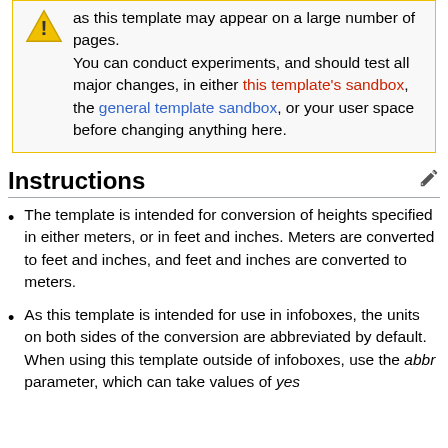as this template may appear on a large number of pages. You can conduct experiments, and should test all major changes, in either this template's sandbox, the general template sandbox, or your user space before changing anything here.
Instructions
The template is intended for conversion of heights specified in either meters, or in feet and inches. Meters are converted to feet and inches, and feet and inches are converted to meters.
As this template is intended for use in infoboxes, the units on both sides of the conversion are abbreviated by default. When using this template outside of infoboxes, use the abbr parameter, which can take values of yes